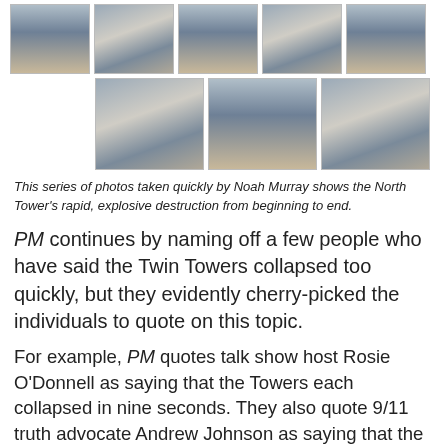[Figure (photo): Series of 8 photos showing the North Tower collapsing with smoke and debris, arranged in two rows: 5 smaller photos in the top row and 3 larger photos in the bottom row.]
This series of photos taken quickly by Noah Murray shows the North Tower's rapid, explosive destruction from beginning to end.
PM continues by naming off a few people who have said the Twin Towers collapsed too quickly, but they evidently cherry-picked the individuals to quote on this topic.
For example, PM quotes talk show host Rosie O'Donnell as saying that the Towers each collapsed in nine seconds. They also quote 9/11 truth advocate Andrew Johnson as saying that the